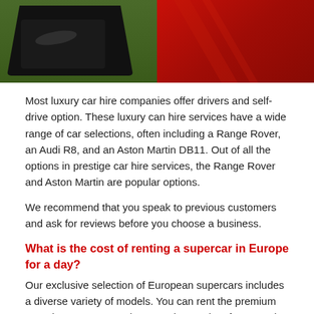[Figure (photo): Split image: left half shows a black car tyre/wheel on green grass, right half shows a red car surface with diagonal texture]
Most luxury car hire companies offer drivers and self-drive option. These luxury can hire services have a wide range of car selections, often including a Range Rover, an Audi R8, and an Aston Martin DB11. Out of all the options in prestige car hire services, the Range Rover and Aston Martin are popular options.
We recommend that you speak to previous customers and ask for reviews before you choose a business.
What is the cost of renting a supercar in Europe for a day?
Our exclusive selection of European supercars includes a diverse variety of models. You can rent the premium Porsche Panamera, a luxury 4-door sedan, for around 300 to 400 Euros per day, which is excellent for a family vacation.
Can you supercar hire and drive across Europe?
Car rental businesses in Europe usually enable customers to drive